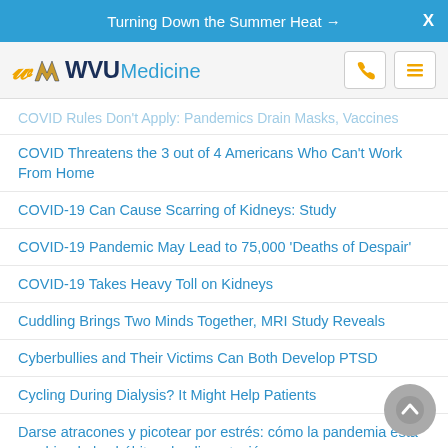Turning Down the Summer Heat →   X
[Figure (logo): WVU Medicine logo with flying WV emblem, phone icon button, and hamburger menu button]
COVID Rules Don't Apply: Pandemics Drain Masks, Vaccines (faded/partially visible)
COVID Threatens the 3 out of 4 Americans Who Can't Work From Home
COVID-19 Can Cause Scarring of Kidneys: Study
COVID-19 Pandemic May Lead to 75,000 'Deaths of Despair'
COVID-19 Takes Heavy Toll on Kidneys
Cuddling Brings Two Minds Together, MRI Study Reveals
Cyberbullies and Their Victims Can Both Develop PTSD
Cycling During Dialysis? It Might Help Patients
Darse atracones y picotear por estrés: cómo la pandemia está cambiando los hábitos de alimentación
Dating on V-Day? Why Some Are Better at a Good First Impression